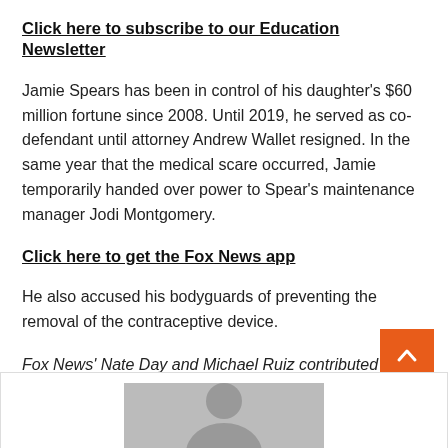Click here to subscribe to our Education Newsletter
Jamie Spears has been in control of his daughter's $60 million fortune since 2008. Until 2019, he served as co-defendant until attorney Andrew Wallet resigned. In the same year that the medical scare occurred, Jamie temporarily handed over power to Spear's maintenance manager Jodi Montgomery.
Click here to get the Fox News app
He also accused his bodyguards of preventing the removal of the contraceptive device.
Fox News' Nate Day and Michael Ruiz contributed to the report.
[Figure (photo): Person photo partially visible at bottom of page]